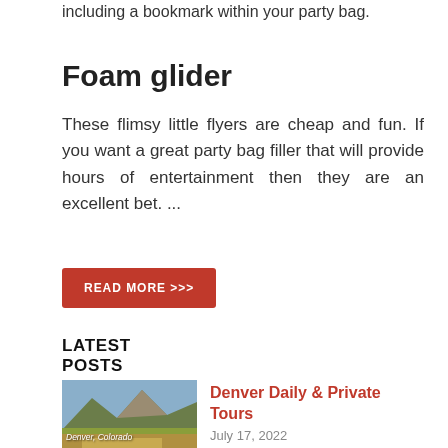including a bookmark within your party bag.
Foam glider
These flimsy little flyers are cheap and fun. If you want a great party bag filler that will provide hours of entertainment then they are an excellent bet. ...
READ MORE >>>
LATEST POSTS
[Figure (photo): Photo of Denver, Colorado landscape with mountains and grassland at sunset]
Denver Daily & Private Tours
July 17, 2022